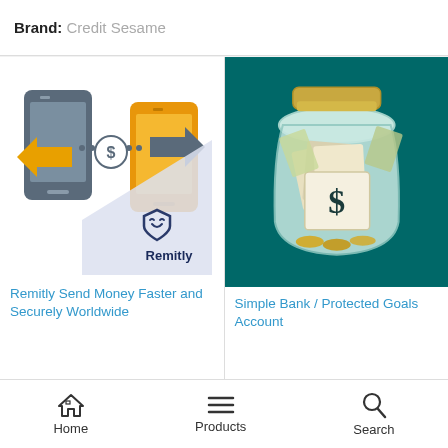Brand: Credit Sesame
[Figure (illustration): Remitly: two smartphones with arrows and dollar sign indicating money transfer, with Remitly logo below on light purple triangle background]
Remitly Send Money Faster and Securely Worldwide
[Figure (illustration): Simple Bank Protected Goals Account: glass jar filled with cash and coins, dollar sign on label, teal background]
Simple Bank / Protected Goals Account
[Figure (illustration): New product card with dark background, hand holding something, green New badge]
Home   Products   Search